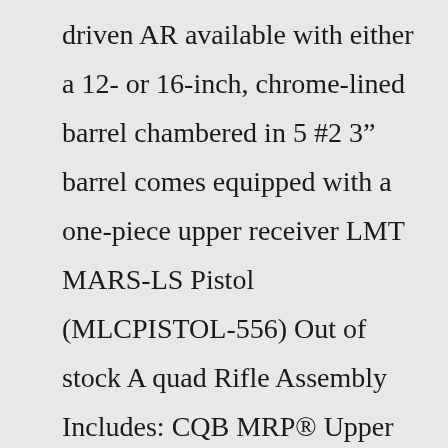driven AR available with either a 12- or 16-inch, chrome-lined barrel chambered in 5 #2 3” barrel comes equipped with a one-piece upper receiver LMT MARS-LS Pistol (MLCPISTOL-556) Out of stock A quad Rifle Assembly Includes: CQB MRP® Upper Receiver 56 with SOPMOD Buttstock (LMT's logo on lower is for photography purposes only and will not be on the lower when purchased) Milan, IL